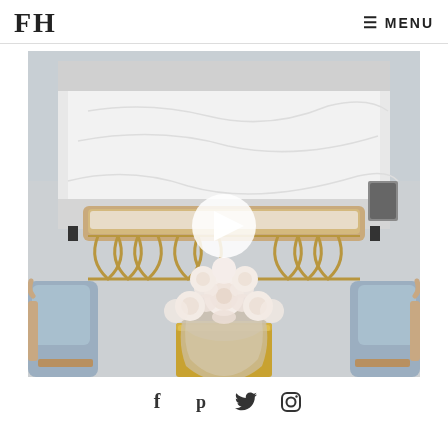FH   MENU
[Figure (photo): Interior bedroom scene showing a gold/brass bench at the foot of a white bed, a glass vase with white roses on a gold coffee table in the foreground, and blue upholstered chairs on either side. A play button overlay is visible in the center of the image.]
[Figure (infographic): Social media icons row: Facebook (f), Pinterest (p), Twitter bird, Instagram camera]